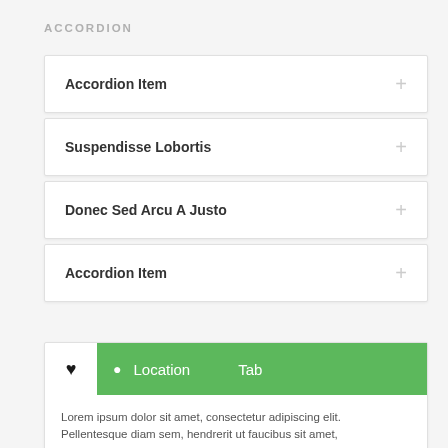ACCORDION
Accordion Item
Suspendisse Lobortis
Donec Sed Arcu A Justo
Accordion Item
[Figure (screenshot): A UI card with a heart icon on the left and a green navigation bar showing 'Location' and 'Tab' labels with a location pin icon]
Lorem ipsum dolor sit amet, consectetur adipiscing elit. Pellentesque diam sem, hendrerit ut faucibus sit amet,